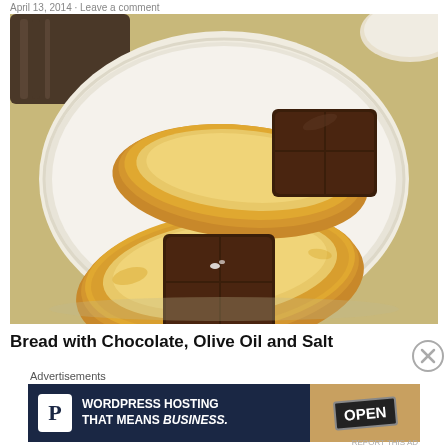April 13, 2014 · Leave a comment
[Figure (photo): A white plate with two slices of toasted bread, each topped with a square piece of dark chocolate, served with olive oil and salt]
Bread with Chocolate, Olive Oil and Salt
Advertisements
[Figure (infographic): WordPress Hosting advertisement banner with P logo and OPEN sign, text: WORDPRESS HOSTING THAT MEANS BUSINESS.]